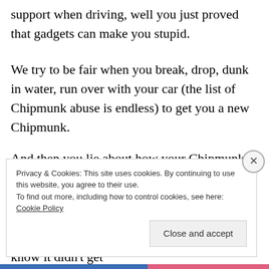support when driving, well you just proved that gadgets can make you stupid.
We try to be fair when you break, drop, dunk in water, run over with your car (the list of Chipmunk abuse is endless) to get you a new Chipmunk.
And then you lie about how your Chipmunk mysteriously broke.
We can see the tire treads. We can see that you left it on top of the radiator and melted it. We know it didn't get
Privacy & Cookies: This site uses cookies. By continuing to use this website, you agree to their use.
To find out more, including how to control cookies, see here: Cookie Policy

Close and accept